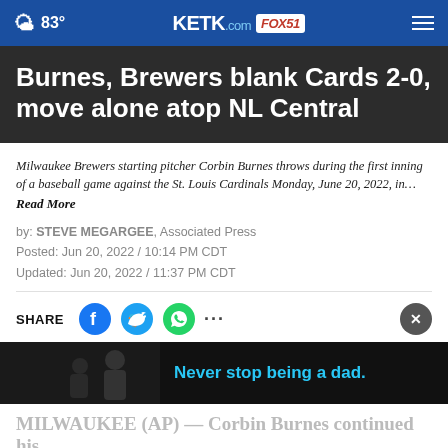83° KETK.com FOX51
Burnes, Brewers blank Cards 2-0, move alone atop NL Central
Milwaukee Brewers starting pitcher Corbin Burnes throws during the first inning of a baseball game against the St. Louis Cardinals Monday, June 20, 2022, in… Read More
by: STEVE MEGARGEE, Associated Press
Posted: Jun 20, 2022 / 10:14 PM CDT
Updated: Jun 20, 2022 / 11:37 PM CDT
SHARE
[Figure (photo): Advertisement banner: photo of adult and child with text 'Never stop being a dad.']
MILWAUKEE (AP) — Corbin Burnes continued his